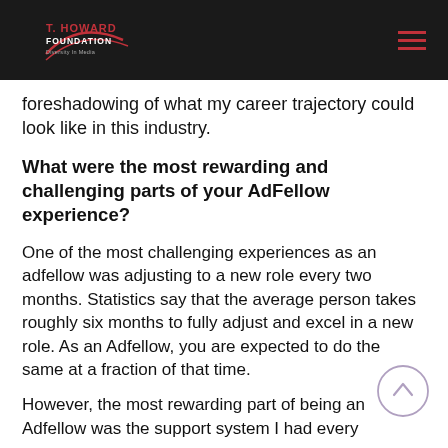T. Howard Foundation – Diversity in Media
foreshadowing of what my career trajectory could look like in this industry.
What were the most rewarding and challenging parts of your AdFellow experience?
One of the most challenging experiences as an adfellow was adjusting to a new role every two months. Statistics say that the average person takes roughly six months to fully adjust and excel in a new role. As an Adfellow, you are expected to do the same at a fraction of that time.
However, the most rewarding part of being an Adfellow was the support system I had every